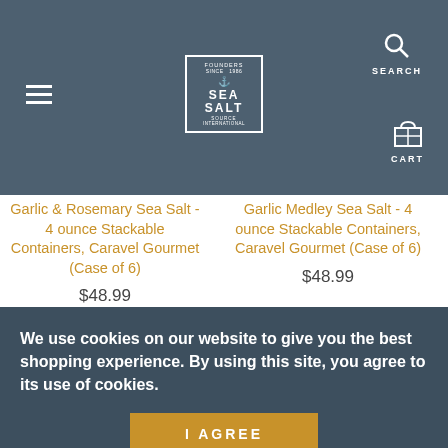[Figure (screenshot): Website header with hamburger menu icon on left, Sea Salt logo in center, and search/cart icons on right, on a dark blue-gray background]
Garlic & Rosemary Sea Salt - 4 ounce Stackable Containers, Caravel Gourmet (Case of 6)
$48.99
Garlic Medley Sea Salt - 4 ounce Stackable Containers, Caravel Gourmet (Case of 6)
$48.99
We use cookies on our website to give you the best shopping experience. By using this site, you agree to its use of cookies.
I AGREE